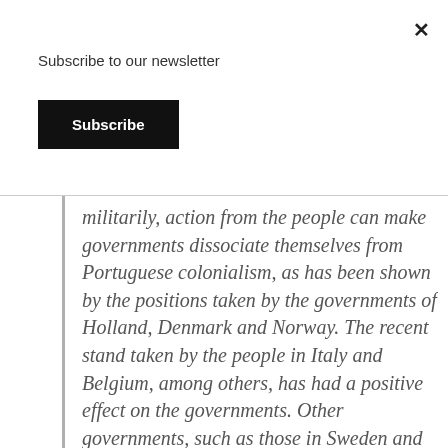Subscribe to our newsletter
Subscribe
militarily, action from the people can make governments dissociate themselves from Portuguese colonialism, as has been shown by the positions taken by the governments of Holland, Denmark and Norway. The recent stand taken by the people in Italy and Belgium, among others, has had a positive effect on the governments. Other governments, such as those in Sweden and Finland, which traditionally had good relations with Portugal, are now the…